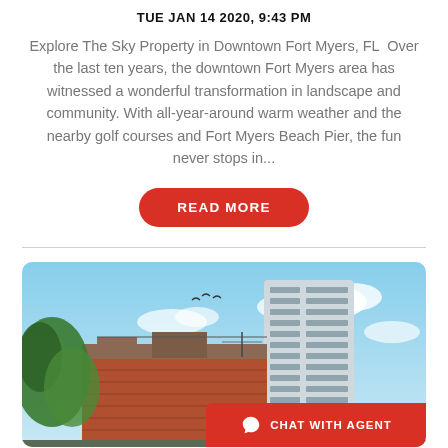TUE JAN 14 2020, 9:43 PM
Explore The Sky Property in Downtown Fort Myers, FL  Over the last ten years, the downtown Fort Myers area has witnessed a wonderful transformation in landscape and community. With all-year-around warm weather and the nearby golf courses and Fort Myers Beach Pier, the fun never stops in...
READ MORE
[Figure (photo): Exterior photo of a tall modern high-rise building with glass facade, surrounded by tropical foliage and older buildings, blue sky with clouds in background]